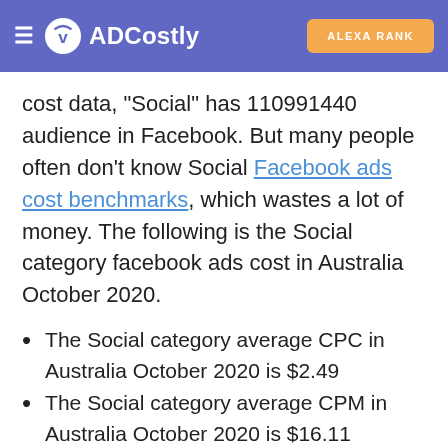ADCostly | ALEXA RANK
cost data, "Social" has 110991440 audience in Facebook. But many people often don't know Social Facebook ads cost benchmarks, which wastes a lot of money. The following is the Social category facebook ads cost in Australia October 2020.
The Social category average CPC in Australia October 2020 is $2.49
The Social category average CPM in Australia October 2020 is $16.11
The Social category average CPA